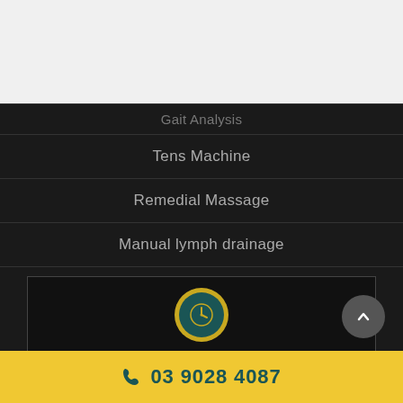Gait Analysis
Tens Machine
Remedial Massage
Manual lymph drainage
BUSINESS HOURS
03 9028 4087